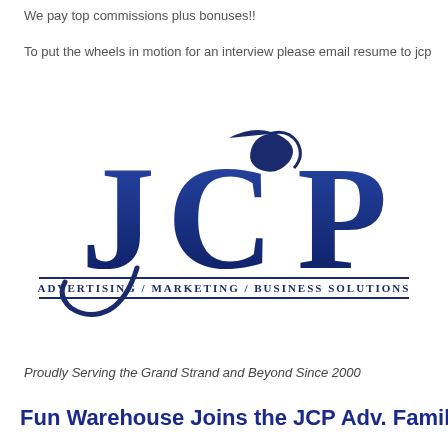We pay top commissions plus bonuses!!
To put the wheels in motion for an interview please email resume to jcp
[Figure (logo): JCP Advertising / Marketing / Business Solutions logo with large stylized J, C, P letters in dark navy blue with a wave/curl design on the C, and a horizontal bar with the tagline 'Advertising / Marketing / Business Solutions' in uppercase serif text]
Proudly Serving the Grand Strand and Beyond Since 2000
Fun Warehouse Joins the JCP Adv. Family